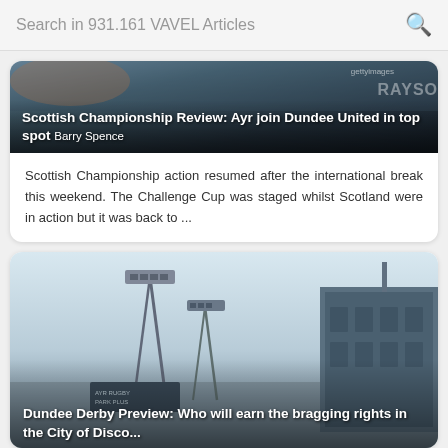Search in 931.161 VAVEL Articles
[Figure (photo): Article thumbnail for Scottish Championship Review with stadium crowd in background, gettyimages watermark visible]
Scottish Championship Review: Ayr join Dundee United in top spot Barry Spence
Scottish Championship action resumed after the international break this weekend. The Challenge Cup was staged whilst Scotland were in action but it was back to ...
[Figure (photo): Article thumbnail showing Dundee stadium exterior with floodlight pylons and industrial building in foggy/misty conditions]
Dundee Derby Preview: Who will earn the bragging rights in the City of Discovery?